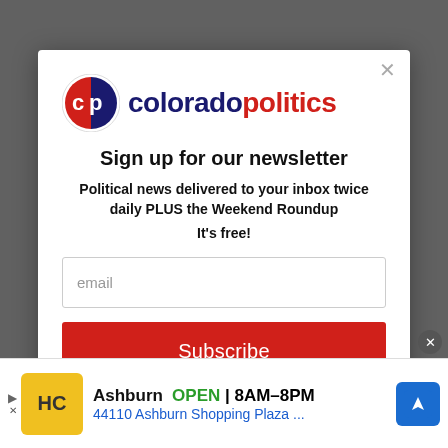[Figure (screenshot): Colorado Politics newsletter sign-up modal dialog over a grayed-out background. Contains the Colorado Politics logo, sign-up headline, email input field, and Subscribe button. Bottom shows an advertisement for an Ashburn business.]
cp coloradopolitics
Sign up for our newsletter
Political news delivered to your inbox twice daily PLUS the Weekend Roundup
It's free!
email
Subscribe
Ashburn OPEN 8AM–8PM 44110 Ashburn Shopping Plaza ...